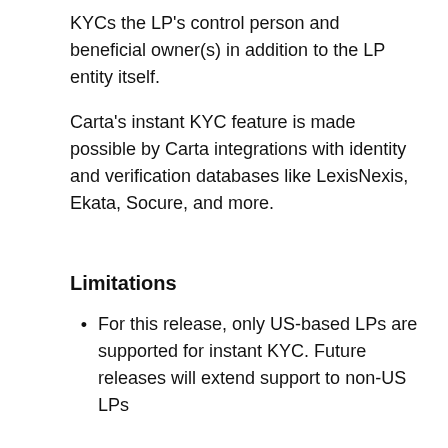KYCs the LP's control person and beneficial owner(s) in addition to the LP entity itself.
Carta's instant KYC feature is made possible by Carta integrations with identity and verification databases like LexisNexis, Ekata, Socure, and more.
Limitations
For this release, only US-based LPs are supported for instant KYC. Future releases will extend support to non-US LPs
How it Works